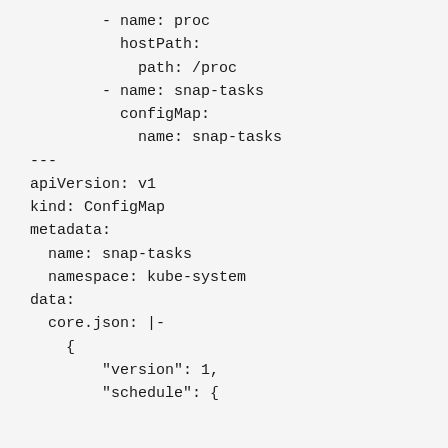- name: proc
          hostPath:
            path: /proc
        - name: snap-tasks
          configMap:
            name: snap-tasks
---
apiVersion: v1
kind: ConfigMap
metadata:
  name: snap-tasks
  namespace: kube-system
data:
  core.json: |-
    {
        "version": 1,
        "schedule": {